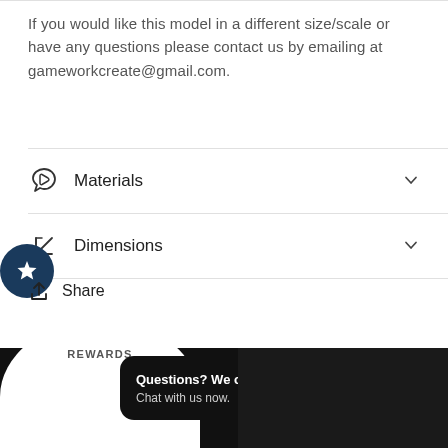If you would like this model in a different size/scale or have any questions please contact us by emailing at gameworkcreate@gmail.com.
Materials
Dimensions
Share
You may also like
REWARDS
Questions? We can help. Chat with us now.